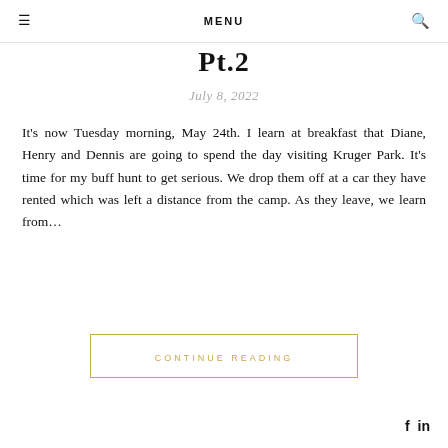MENU
Pt.2
July 8, 2022
It's now Tuesday morning, May 24th. I learn at breakfast that Diane, Henry and Dennis are going to spend the day visiting Kruger Park. It's time for my buff hunt to get serious. We drop them off at a car they have rented which was left a distance from the camp. As they leave, we learn from…
CONTINUE READING
f in